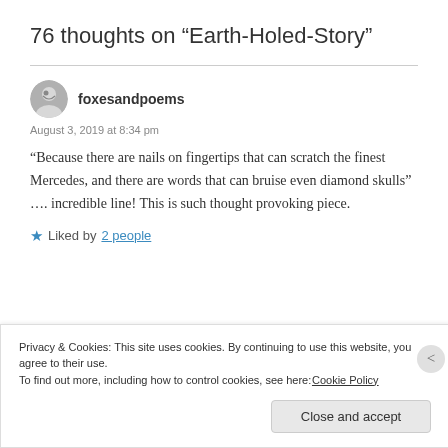76 thoughts on “Earth-Holed-Story”
foxesandpoems
August 3, 2019 at 8:34 pm
“Because there are nails on fingertips that can scratch the finest Mercedes, and there are words that can bruise even diamond skulls” …. incredible line! This is such thought provoking piece.
Liked by 2 people
Privacy & Cookies: This site uses cookies. By continuing to use this website, you agree to their use. To find out more, including how to control cookies, see here: Cookie Policy
Close and accept